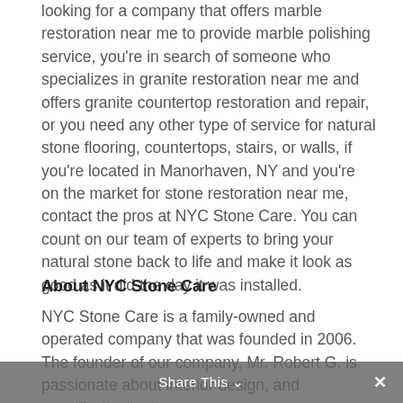looking for a company that offers marble restoration near me to provide marble polishing service, you're in search of someone who specializes in granite restoration near me and offers granite countertop restoration and repair, or you need any other type of service for natural stone flooring, countertops, stairs, or walls, if you're located in Manorhaven, NY and you're on the market for stone restoration near me, contact the pros at NYC Stone Care. You can count on our team of experts to bring your natural stone back to life and make it look as good as it did the day it was installed.
About NYC Stone Care
NYC Stone Care is a family-owned and operated company that was founded in 2006. The founder of our company, Mr. Robert G. is passionate about interior design, and specifically, the beauty,